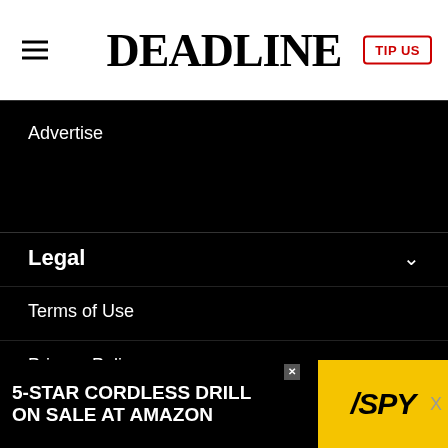DEADLINE
Advertise
Legal
Terms of Use
Privacy Policy
AdChoices
Sitemap
[Figure (infographic): Advertisement banner: '5-STAR CORDLESS DRILL ON SALE AT AMAZON' with SPY logo on yellow background]